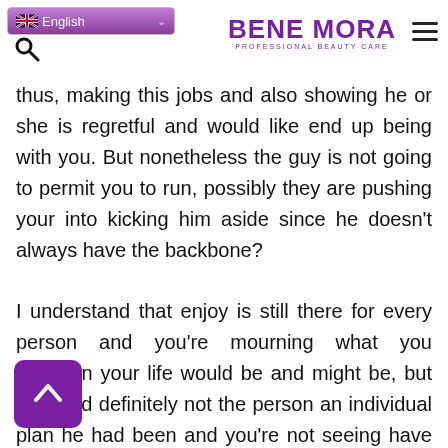English | BENE MORA PROFESSIONAL BEAUTY CARE
thus, making this jobs and also showing he or she is regretful and would like end up being with you. But nonetheless the guy is not going to permit you to run, possibly they are pushing your into kicking him aside since he doesn't always have the backbone?
I understand that enjoy is still there for every person and you're mourning what you attention your life would be and might be, but he could definitely not the person an individual plan he had been and you're not seeing have the